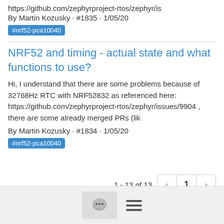https://github.com/zephyrproject-rtos/zephyr/is
By Martin Kozusky · #1835 · 1/05/20
#nrf52-pca10040
NRF52 and timing - actual state and what functions to use?
Hi, I understand that there are some problems because of 32768Hz RTC with NRF52832 as referenced here: https://github.com/zephyrproject-rtos/zephyr/issues/9904 , there are some already merged PRs (lik
By Martin Kozusky · #1834 · 1/05/20
#nrf52-pca10040
1 - 13 of 13
[Figure (other): Pagination controls showing page 1 with previous and next arrows. Text: 1 - 13 of 13]
Chat bubble icon and hamburger menu icon